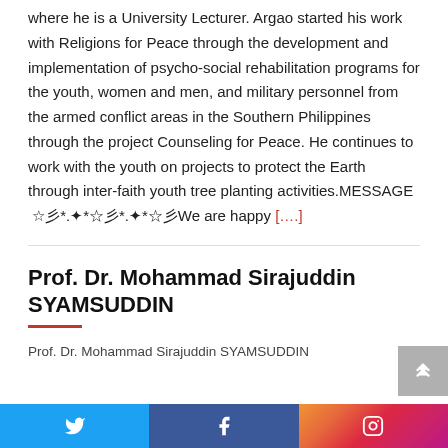where he is a University Lecturer. Argao started his work with Religions for Peace through the development and implementation of psycho-social rehabilitation programs for the youth, women and men, and military personnel from the armed conflict areas in the Southern Philippines through the project Counseling for Peace. He continues to work with the youth on projects to protect the Earth through inter-faith youth tree planting activities.MESSAGE ☆彡*.✦*☆彡*.✦*☆彡We are happy [....]
Prof. Dr. Mohammad Sirajuddin SYAMSUDDIN
Prof. Dr. Mohammad Sirajuddin SYAMSUDDIN